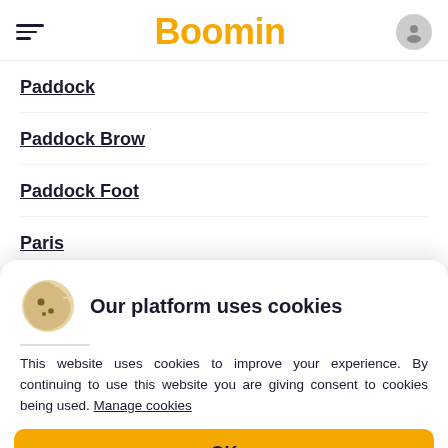Boomin
Paddock
Paddock Brow
Paddock Foot
Paris
Park Gate
Our platform uses cookies
This website uses cookies to improve your experience. By continuing to use this website you are giving consent to cookies being used. Manage cookies
OK